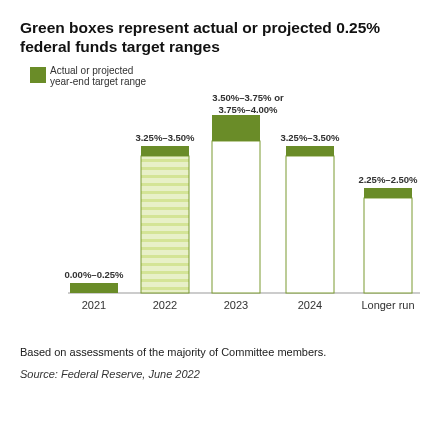Green boxes represent actual or projected 0.25% federal funds target ranges
[Figure (bar-chart): Green boxes represent actual or projected 0.25% federal funds target ranges]
Based on assessments of the majority of Committee members.
Source: Federal Reserve, June 2022